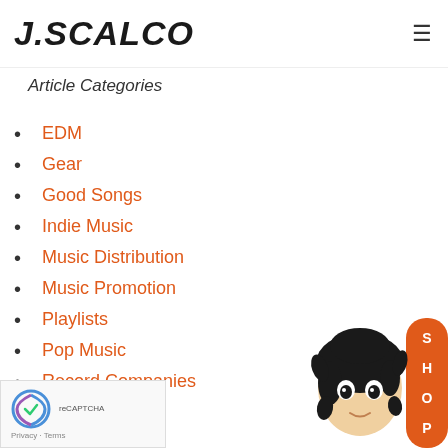J.SCALCO
Article Categories
EDM
Gear
Good Songs
Indie Music
Music Distribution
Music Promotion
Playlists
Pop Music
Record Companies
Rap Music
J.SCALCO Video
[Figure (illustration): Anime-style character illustration used as a shop button mascot]
Privacy · Terms